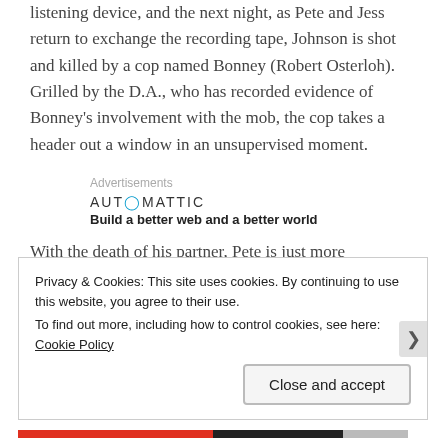listening device, and the next night, as Pete and Jess return to exchange the recording tape, Johnson is shot and killed by a cop named Bonney (Robert Osterloh). Grilled by the D.A., who has recorded evidence of Bonney's involvement with the mob, the cop takes a header out a window in an unsupervised moment.
Advertisements
[Figure (logo): Automattic logo with tagline: Build a better web and a better world]
With the death of his partner, Pete is just more determined to bring down the crooked cops providing
Privacy & Cookies: This site uses cookies. By continuing to use this website, you agree to their use. To find out more, including how to control cookies, see here: Cookie Policy
Close and accept